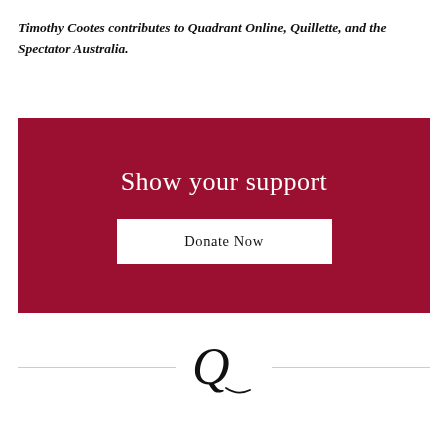Timothy Cootes contributes to Quadrant Online, Quillette, and the Spectator Australia.
[Figure (infographic): Dark red/crimson banner with white text 'Show your support' and a white button labeled 'Donate Now']
[Figure (logo): Quadrant magazine logo: stylized italic letter Q with a decorative tail, flanked by horizontal lines]